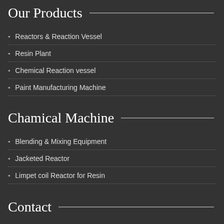Our Products
Reactors & Reaction Vessel
Resin Plant
Chemical Reaction vessel
Paint Manufacturing Machine
Chamical Machine
Blending & Mixing Equipment
Jacketed Reactor
Limpet coil Reactor for Resin
Contact